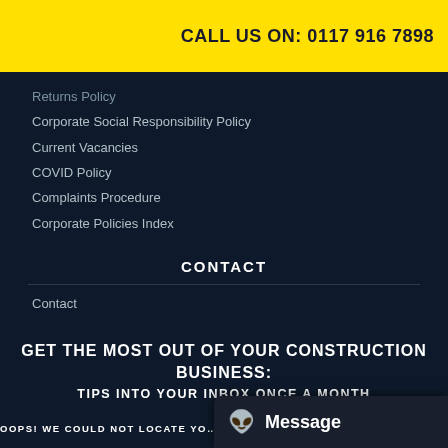CALL US ON: 0117 916 7898
Returns Policy
Corporate Social Responsibility Policy
Current Vacancies
COVID Policy
Complaints Procedure
Corporate Policies Index
CONTACT
Contact
GET THE MOST OUT OF YOUR CONSTRUCTION BUSINESS: TIPS INTO YOUR INBOX ONCE A MONTH
OOPS! WE COULD NOT LOCATE YOUR FORM.